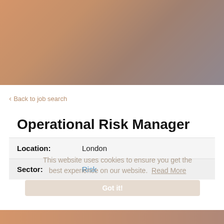[Figure (photo): Hero banner with warm gradient from orange-tan on the left to muted grey-rose on the right]
< Back to job search
Operational Risk Manager
This website uses cookies to ensure you get the best experience on our website. Read More
Got it!
| Location: | London |
| Sector: | Risk |